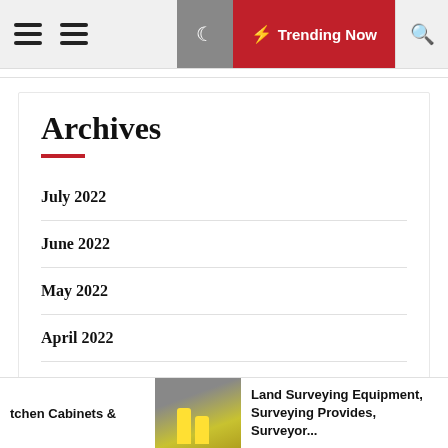Trending Now
Archives
July 2022
June 2022
May 2022
April 2022
March 2022
tchen Cabinets & | Land Surveying Equipment, Surveying Provides, Surveyor...